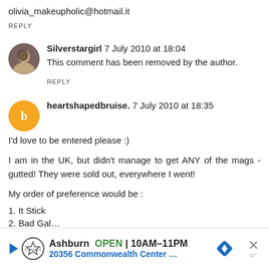olivia_makeupholic@hotmail.it
REPLY
Silverstargirl 7 July 2010 at 18:04
This comment has been removed by the author.
REPLY
heartshapedbruise. 7 July 2010 at 18:35
I'd love to be entered please :)
I am in the UK, but didn't manage to get ANY of the mags - gutted! They were sold out, everywhere I went!
My order of preference would be :
1. It Stick
2. Bad Gal...
[Figure (infographic): Advertisement banner for Topgolf Ashburn: OPEN 10AM-11PM, 20356 Commonwealth Center..., with directional arrow icon, close button with X]